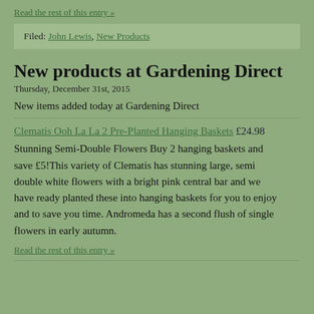Read the rest of this entry »
Filed: John Lewis, New Products
New products at Gardening Direct
Thursday, December 31st, 2015
New items added today at Gardening Direct
Clematis Ooh La La 2 Pre-Planted Hanging Baskets £24.98
Stunning Semi-Double Flowers Buy 2 hanging baskets and save £5!This variety of Clematis has stunning large, semi double white flowers with a bright pink central bar and we have ready planted these into hanging baskets for you to enjoy and to save you time. Andromeda has a second flush of single flowers in early autumn.
Read the rest of this entry »